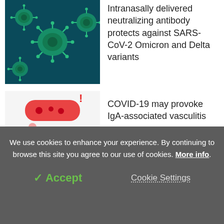[Figure (photo): Microscopic image of coronavirus particles (green) on dark teal background]
Intranasally delivered neutralizing antibody protects against SARS-CoV-2 Omicron and Delta variants
[Figure (illustration): Medical illustration showing a doctor examining a patient's knee, with a red blood vessel/inflammation graphic above]
COVID-19 may provoke IgA-associated vasculitis
[Figure (photo): Photo of a teal/grey board or surface with a small number 2 visible]
Study explores differences in the efficiency of COVID-19 vaccine boosters
We use cookies to enhance your experience. By continuing to browse this site you agree to our use of cookies. More info.
✓ Accept
Cookie Settings